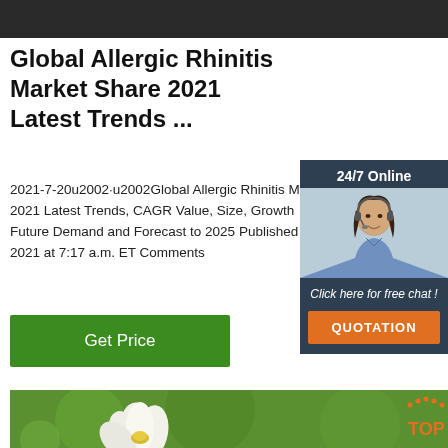[Figure (photo): Dark textured banner at top of page]
Global Allergic Rhinitis Market Share 2021 Latest Trends ...
2021-7-20u2002·u2002Global Allergic Rhinitis Market Share 2021 Latest Trends, CAGR Value, Size, Growth Future Demand and Forecast to 2025 Published 2021 at 7:17 a.m. ET Comments
[Figure (other): Green Get Price button]
[Figure (infographic): 24/7 Online chat widget with woman headset photo and Click here for free chat! QUOTATION button]
[Figure (photo): White lotus flower on green bokeh background, TOP logo in bottom right corner]